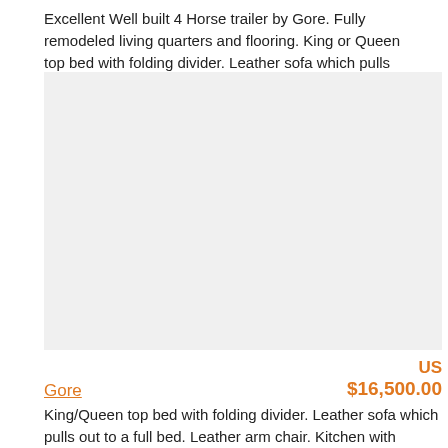Excellent Well built 4 Horse trailer by Gore. Fully remodeled living quarters and flooring. King or Queen top bed with folding divider. Leather sofa which pulls out to a full bed. Leather arm chair.
[Figure (photo): Gray placeholder image area for horse trailer photo]
Gore
US $16,500.00
King/Queen top bed with folding divider. Leather sofa which pulls out to a full bed. Leather arm chair. Kitchen with microwave, refrigerator...